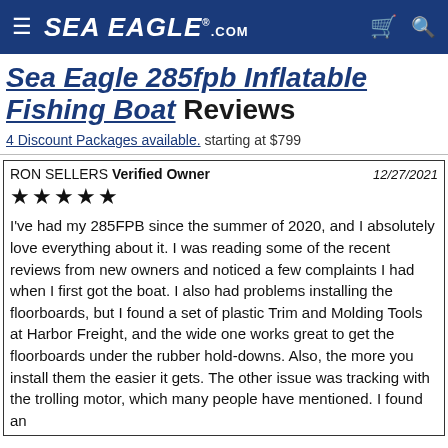Sea Eagle .com (navigation header with hamburger menu, cart, and search icons)
Sea Eagle 285fpb Inflatable Fishing Boat Reviews
4 Discount Packages available. starting at $799
RON SELLERS Verified Owner 12/27/2021 ★★★★★ I've had my 285FPB since the summer of 2020, and I absolutely love everything about it. I was reading some of the recent reviews from new owners and noticed a few complaints I had when I first got the boat. I also had problems installing the floorboards, but I found a set of plastic Trim and Molding Tools at Harbor Freight, and the wide one works great to get the floorboards under the rubber hold-downs. Also, the more you install them the easier it gets. The other issue was tracking with the trolling motor, which many people have mentioned. I found an